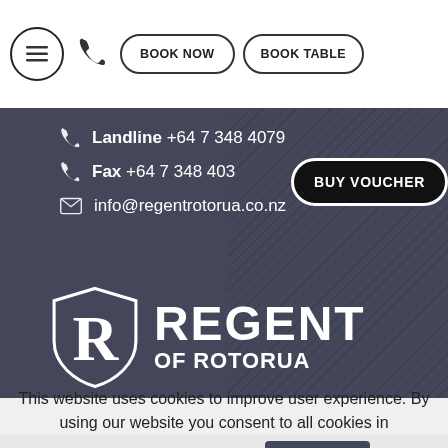[Figure (screenshot): Website navigation bar with hamburger menu icon, phone icon, BOOK NOW and BOOK TABLE buttons]
Landline +64 7 348 4079
Fax +64 7 348 403
BUY VOUCHER
info@regentrotorua.co.nz
[Figure (logo): Regent of Rotorua logo with shield icon, text REGENT OF ROTORUA]
This website uses cookies to improve user experience. By using our website you consent to all cookies in accordance with our
Cookie Policy. Read more
I agree